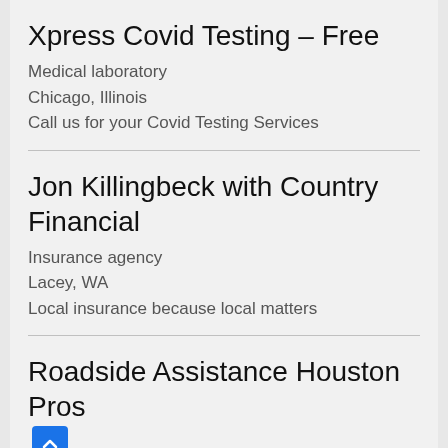Xpress Covid Testing – Free
Medical laboratory
Chicago, Illinois
Call us for your Covid Testing Services
Jon Killingbeck with Country Financial
Insurance agency
Lacey, WA
Local insurance because local matters
Roadside Assistance Houston Pros